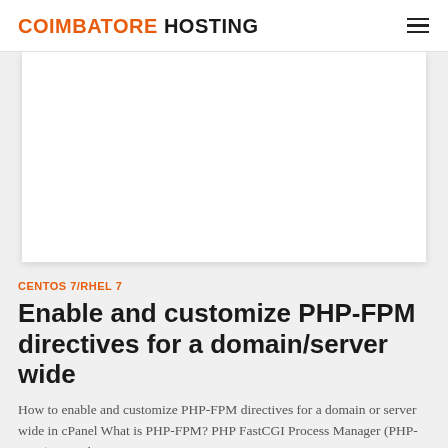COIMBATORE HOSTING
[Figure (other): Advertisement or image placeholder — white rectangular box with shadow]
CENTOS 7/RHEL 7
Enable and customize PHP-FPM directives for a domain/server wide
How to enable and customize PHP-FPM directives for a domain or server wide in cPanel What is PHP-FPM? PHP FastCGI Process Manager (PHP-FPM) is an alternative